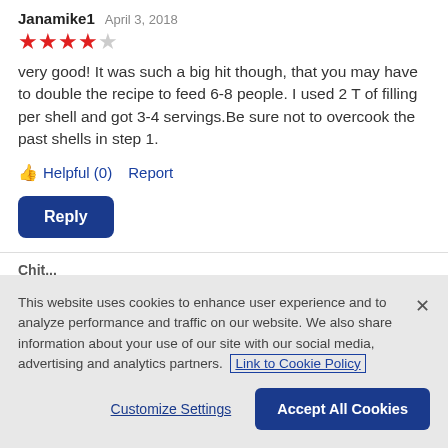Janamike1  April 3, 2018
[Figure (illustration): 4 out of 5 stars rating shown with 4 red stars and 1 gray star]
very good! It was such a big hit though, that you may have to double the recipe to feed 6-8 people. I used 2 T of filling per shell and got 3-4 servings.Be sure not to overcook the past shells in step 1.
👍 Helpful (0)  Report
Reply
This website uses cookies to enhance user experience and to analyze performance and traffic on our website. We also share information about your use of our site with our social media, advertising and analytics partners. Link to Cookie Policy
Customize Settings  Accept All Cookies